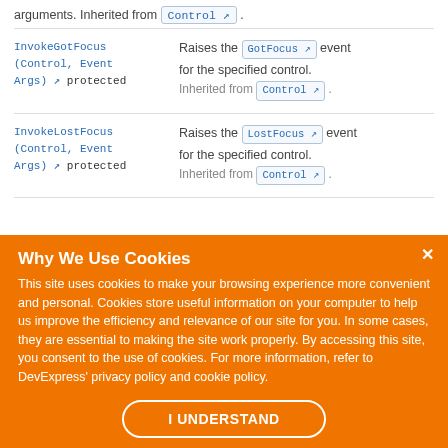arguments. Inherited from Control↗.
InvokeGotFocus(Control, EventArgs)↗ protected — Raises the GotFocus↗ event for the specified control. Inherited from Control↗.
InvokeLostFocus(Control, EventArgs)↗ protected — Raises the LostFocus↗ event for the specified control. Inherited from Control↗.
Why We Use Cookies
This site uses cookies to make your browsing experience more convenient and personal. Cookies store useful information on your computer to help us improve the efficiency and relevance of our site for you. In some cases, they are essential to making the site work properly. By accessing this site, you consent to the use of cookies. For more information, refer to DevExpress' privacy policy and cookie policy.
I UNDERSTAND